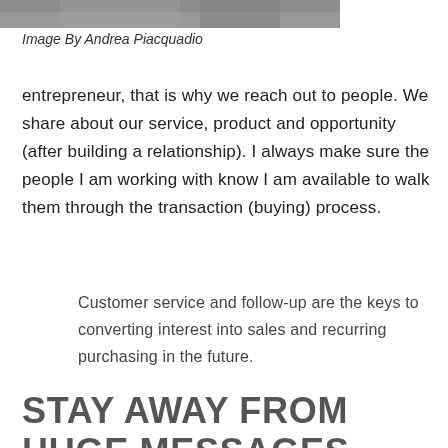[Figure (photo): Partial view of a photo showing people, cropped at top of page]
Image By Andrea Piacquadio
entrepreneur, that is why we reach out to people. We share about our service, product and opportunity (after building a relationship). I always make sure the people I am working with know I am available to walk them through the transaction (buying) process.
Customer service and follow-up are the keys to converting interest into sales and recurring purchasing in the future.
STAY AWAY FROM HUGE MESSAGES AND